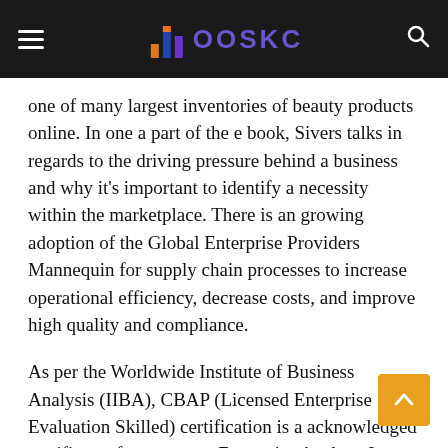OOSKC
one of many largest inventories of beauty products online. In one a part of the e book, Sivers talks in regards to the driving pressure behind a business and why it’s important to identify a necessity within the marketplace. There is an growing adoption of the Global Enterprise Providers Mannequin for supply chain processes to increase operational efficiency, decrease costs, and improve high quality and compliance.
As per the Worldwide Institute of Business Analysis (IIBA), CBAP (Licensed Enterprise Evaluation Skilled) certification is a acknowledged certificates for an expert Enterprise Analyst. It includes robust forecasting instruments that n straight integrate together with your forecasting